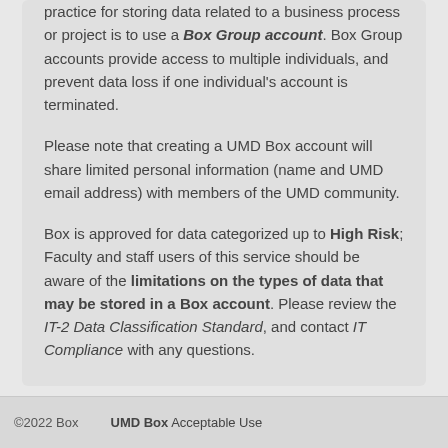practice for storing data related to a business process or project is to use a Box Group account. Box Group accounts provide access to multiple individuals, and prevent data loss if one individual's account is terminated.
Please note that creating a UMD Box account will share limited personal information (name and UMD email address) with members of the UMD community.
Box is approved for data categorized up to High Risk; Faculty and staff users of this service should be aware of the limitations on the types of data that may be stored in a Box account. Please review the IT-2 Data Classification Standard, and contact IT Compliance with any questions.
©2022 Box   UMD Box Acceptable Use